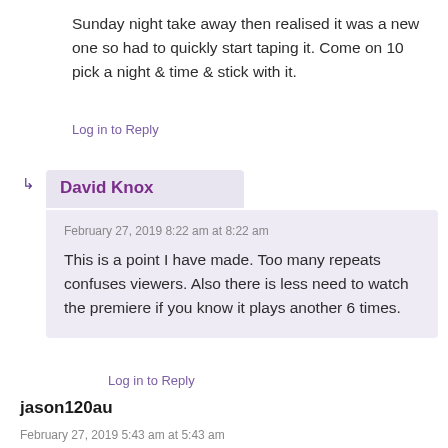Sunday night take away then realised it was a new one so had to quickly start taping it. Come on 10 pick a night & time & stick with it.
Log in to Reply
David Knox
February 27, 2019 8:22 am at 8:22 am
This is a point I have made. Too many repeats confuses viewers. Also there is less need to watch the premiere if you know it plays another 6 times.
Log in to Reply
jason120au
February 27, 2019 5:43 am at 5:43 am